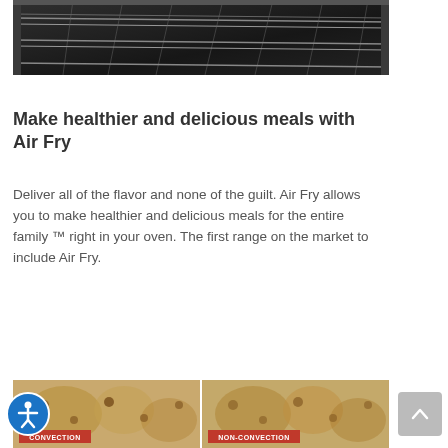[Figure (photo): Close-up interior photo of oven racks inside a dark oven cavity, showing metal wire grates and oven walls.]
Make healthier and delicious meals with Air Fry
Deliver all of the flavor and none of the guilt. Air Fry allows you to make healthier and delicious meals for the entire family ™ right in your oven. The first range on the market to include Air Fry.
[Figure (photo): Two side-by-side food photos at the bottom of the page showing baked goods (cookies/granola bars). Left image is labeled CONVECTION and right image is labeled NON-CONVECTION.]